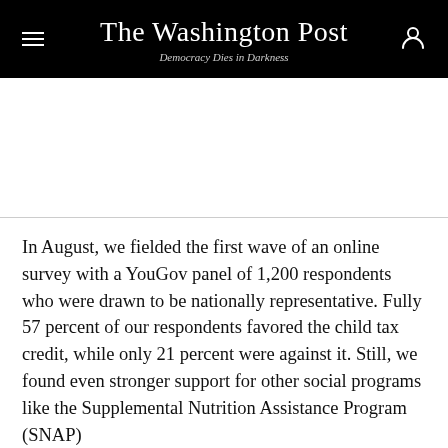The Washington Post — Democracy Dies in Darkness
[Figure (other): Advertisement/blank area below header]
In August, we fielded the first wave of an online survey with a YouGov panel of 1,200 respondents who were drawn to be nationally representative. Fully 57 percent of our respondents favored the child tax credit, while only 21 percent were against it. Still, we found even stronger support for other social programs like the Supplemental Nutrition Assistance Program (SNAP)